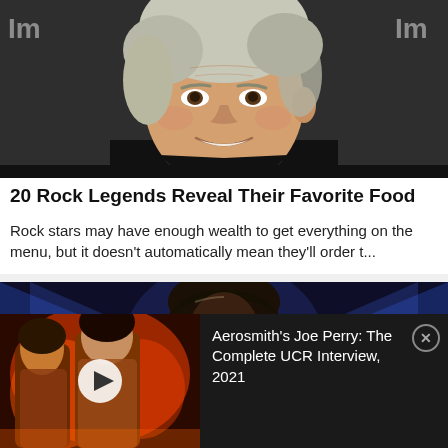[Figure (photo): Elderly man with white hair smiling, wearing black jacket, at what appears to be a press event with text partially visible in background]
20 Rock Legends Reveal Their Favorite Food
Rock stars may have enough wealth to get everything on the menu, but it doesn't automatically mean they'll order t...
[Figure (photo): Concert scene with blue stage lights and performer silhouette]
[Figure (photo): Video thumbnail overlay showing two performers on stage in red/orange lighting with play button, labeled Aerosmith's Joe Perry: The Complete UCR Interview, 2021]